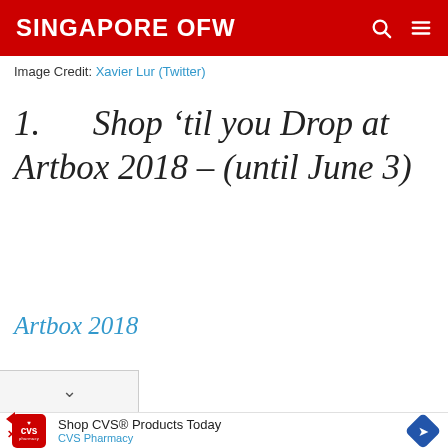SINGAPORE OFW
Image Credit: Xavier Lur (Twitter)
1.      Shop ‘til you Drop at Artbox 2018 – (until June 3)
Artbox 2018
Shop CVS® Products Today
CVS Pharmacy